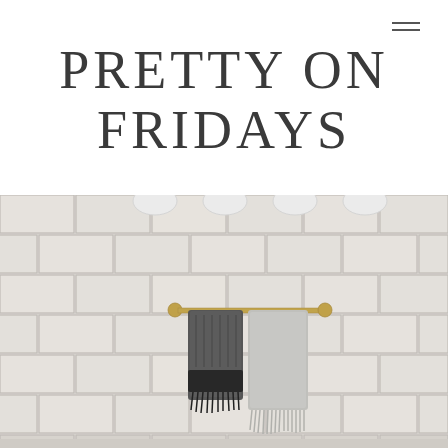PRETTY ON FRIDAYS
[Figure (photo): Bathroom interior with white subway tile wall, a gold/brass towel bar holding two hanging towels (one dark gray/black waffle-knit, one light gray with fringe), and white oval hooks mounted on the tile above.]